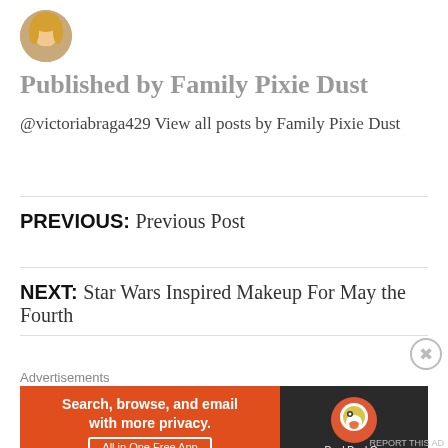[Figure (photo): Circular avatar photo of a blonde woman]
Published by Family Pixie Dust
@victoriabraga429 View all posts by Family Pixie Dust
PREVIOUS: Previous Post
NEXT: Star Wars Inspired Makeup For May the Fourth
Advertisements
[Figure (infographic): DuckDuckGo advertisement banner: 'Search, browse, and email with more privacy. All in One Free App' with DuckDuckGo logo on dark background]